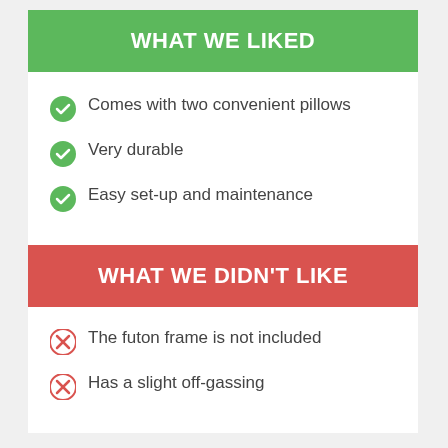WHAT WE LIKED
Comes with two convenient pillows
Very durable
Easy set-up and maintenance
WHAT WE DIDN'T LIKE
The futon frame is not included
Has a slight off-gassing